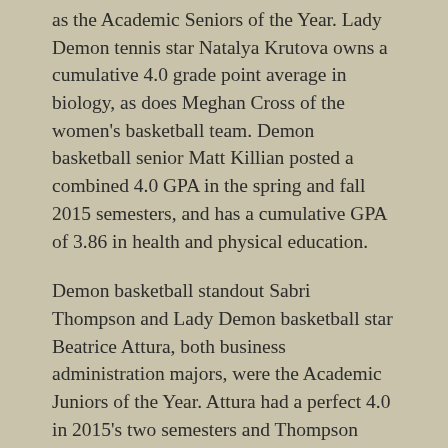as the Academic Seniors of the Year. Lady Demon tennis star Natalya Krutova owns a cumulative 4.0 grade point average in biology, as does Meghan Cross of the women's basketball team. Demon basketball senior Matt Killian posted a combined 4.0 GPA in the spring and fall 2015 semesters, and has a cumulative GPA of 3.86 in health and physical education.
Demon basketball standout Sabri Thompson and Lady Demon basketball star Beatrice Attura, both business administration majors, were the Academic Juniors of the Year. Attura had a perfect 4.0 in 2015's two semesters and Thompson owns a cumulative GPA of 3.71.
For the sophomore class, winners were Lady Demon track and field competitor Kylie Nodorft and football offensive lineman Andrew McAlister. He posted a 4.0